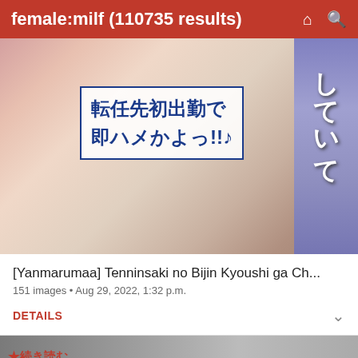female:milf (110735 results)
[Figure (illustration): Anime/manga style illustration with Japanese text overlay reading characters referencing work transfer]
[Yanmarumaa] Tenninsaki no Bijin Kyoushi ga Ch...
151 images • Aug 29, 2022, 1:32 p.m.
DETAILS
[Figure (illustration): Partial view of second anime/manga gallery result with red Japanese text]
Live Sexy Models 🔥
She will make the first move
Flirt4Free